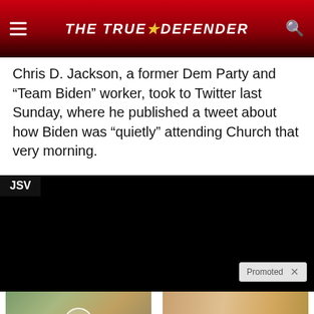THE TRUE DEFENDER
Chris D. Jackson, a former Dem Party and “Team Biden” worker, took to Twitter last Sunday, where he published a tweet about how Biden was “quietly” attending Church that very morning.
[Figure (screenshot): Black video player with JSV label in top-left corner and Promoted bar in bottom-right]
[Figure (photo): Street scene with cars and people, play button overlay - ad for 'Why You Need This Strange Device When The Grid Goes Down']
Why You Need This Strange Device When The Grid Goes Down
798
[Figure (photo): Close-up of fingernails - ad for '4 Warning Signs Of Dementia (#2 Is Scary)']
4 Warning Signs Of Dementia (#2 Is Scary)
9,652